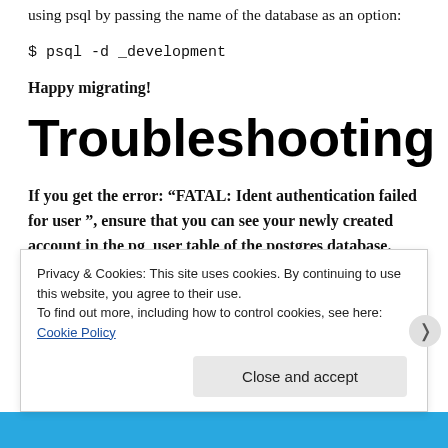using psql by passing the name of the database as an option:
$ psql -d _development
Happy migrating!
Troubleshooting
If you get the error: “FATAL: Ident authentication failed for user ”, ensure that you can see your newly created account in the pg_user table of the postgres database.
Privacy & Cookies: This site uses cookies. By continuing to use this website, you agree to their use.
To find out more, including how to control cookies, see here:
Cookie Policy
Close and accept